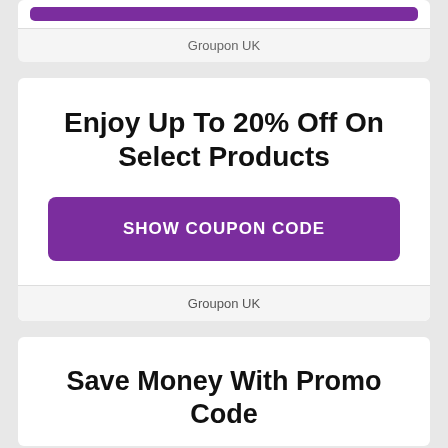[Figure (screenshot): Purple button bar at top of first card, partially cropped]
Groupon UK
Enjoy Up To 20% Off On Select Products
SHOW COUPON CODE
Groupon UK
Save Money With Promo Code